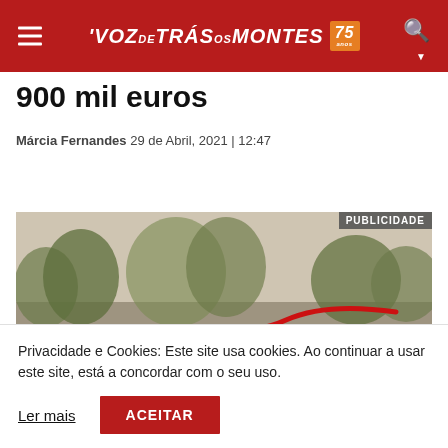VOZ de TRÁS os MONTES
900 mil euros
Márcia Fernandes 29 de Abril, 2021 | 12:47
[Figure (photo): Advertisement photo showing a landscape with trees and a red curving line, labeled PUBLICIDADE]
Privacidade e Cookies: Este site usa cookies. Ao continuar a usar este site, está a concordar com o seu uso.
Ler mais  ACEITAR